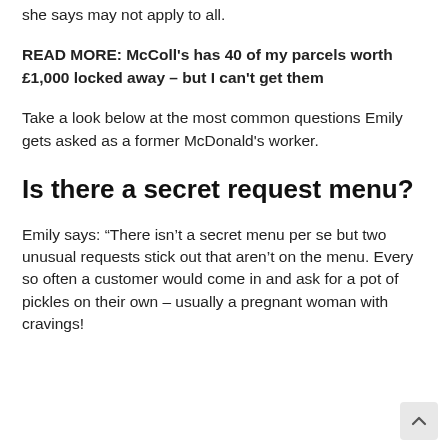she says may not apply to all.
READ MORE: McColl's has 40 of my parcels worth £1,000 locked away – but I can't get them
Take a look below at the most common questions Emily gets asked as a former McDonald's worker.
Is there a secret request menu?
Emily says: “There isn’t a secret menu per se but two unusual requests stick out that aren’t on the menu. Every so often a customer would come in and ask for a pot of pickles on their own – usually a pregnant woman with cravings!